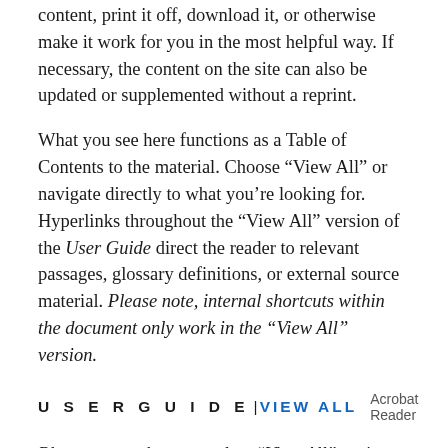content, print it off, download it, or otherwise make it work for you in the most helpful way. If necessary, the content on the site can also be updated or supplemented without a reprint.
What you see here functions as a Table of Contents to the material. Choose “View All” or navigate directly to what you’re looking for. Hyperlinks throughout the “View All” version of the User Guide direct the reader to relevant passages, glossary definitions, or external source material. Please note, internal shortcuts within the document only work in the “View All” version.
USER GUIDE | VIEW ALL [external icon] Acrobat Reader [external icon]
Please note, when you select “View All” option, you